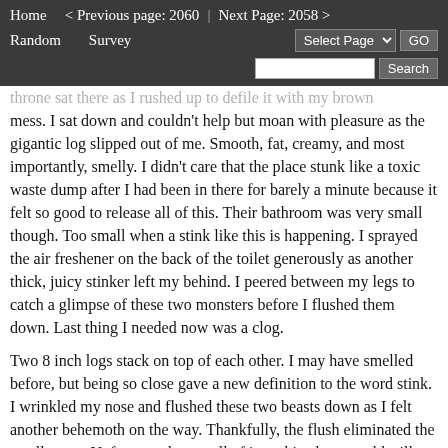Home  < Previous page: 2060  |  Next Page: 2058 >  Random  Survey  Select Page  GO  Search
throne sat there as I rushed up to defile it with my brown mess. I sat down and couldn't help but moan with pleasure as the gigantic log slipped out of me. Smooth, fat, creamy, and most importantly, smelly. I didn't care that the place stunk like a toxic waste dump after I had been in there for barely a minute because it felt so good to release all of this. Their bathroom was very small though. Too small when a stink like this is happening. I sprayed the air freshener on the back of the toilet generously as another thick, juicy stinker left my behind. I peered between my legs to catch a glimpse of these two monsters before I flushed them down. Last thing I needed now was a clog.
Two 8 inch logs stack on top of each other. I may have smelled before, but being so close gave a new definition to the word stink. I wrinkled my nose and flushed these two beasts down as I felt another behemoth on the way. Thankfully, the flush eliminated the smell some. Unfortunately, not all of it so this place would still stink to high heaven. My next misdeed is in the form of a hint...